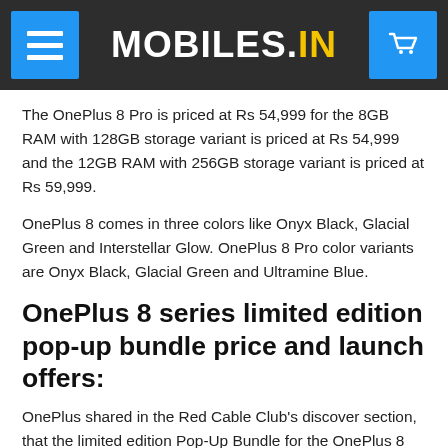MOBILES.IN
The OnePlus 8 Pro is priced at Rs 54,999 for the 8GB RAM with 128GB storage variant is priced at Rs 54,999 and the 12GB RAM with 256GB storage variant is priced at Rs 59,999.
OnePlus 8 comes in three colors like Onyx Black, Glacial Green and Interstellar Glow. OnePlus 8 Pro color variants are Onyx Black, Glacial Green and Ultramine Blue.
OnePlus 8 series limited edition pop-up bundle price and launch offers:
OnePlus shared in the Red Cable Club's discover section, that the limited edition Pop-Up Bundle for the OnePlus 8 and OnePlus 8 Pro will cost Rs. 1,000 more than the retail price of the phones and will include the Bullets Wireless Z (Black) earphones, a Cyan bumper case, and Karbon bumper case. The Pop-Up Bundle will